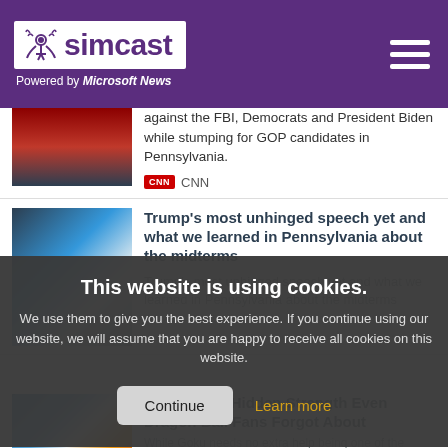simcast — Powered by Microsoft News
against the FBI, Democrats and President Biden while stumping for GOP candidates in Pennsylvania. CNN
Trump's most unhinged speech yet and what we learned in Pennsylvania about the midterms
Trump's most unhinged speech yet and what we learned in Pennsylvania about the midterms
This website is using cookies. We use them to give you the best experience. If you continue using our website, we will assume that you are happy to receive all cookies on this website.
Goku Has a Hidden Strength Even Dragon Ball Fans Forgot About
While Goku needs no extra help being one of the strongest fighters in the Dragon Ball universe, he